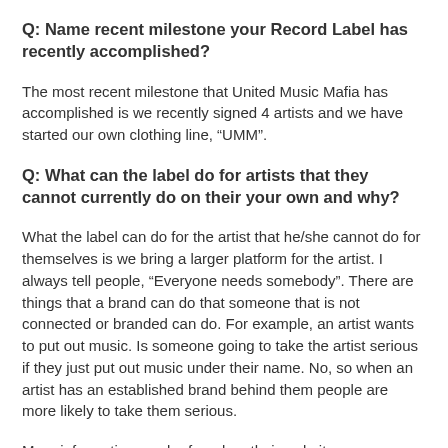Q: Name recent milestone your Record Label has recently accomplished?
The most recent milestone that United Music Mafia has accomplished is we recently signed 4 artists and we have started our own clothing line, “UMM”.
Q: What can the label do for artists that they cannot currently do on their your own and why?
What the label can do for the artist that he/she cannot do for themselves is we bring a larger platform for the artist. I always tell people, “Everyone needs somebody”. There are things that a brand can do that someone that is not connected or branded can do. For example, an artist wants to put out music. Is someone going to take the artist serious if they just put out music under their name. No, so when an artist has an established brand behind them people are more likely to take them serious.
More information can be found on their website unitedmusicmafia.com.